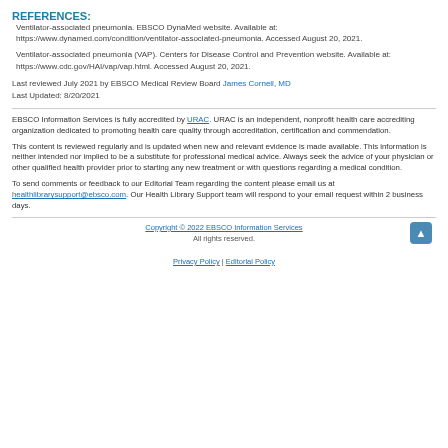REFERENCES:
Ventilator-associated pneumonia. EBSCO DynaMed website. Available at: https://www.dynamed.com/condition/ventilator-associated-pneumonia. Accessed August 20, 2021.
Ventilator-associated pneumonia (VAP). Centers for Disease Control and Prevention website. Available at: https://www.cdc.gov/HAI/vap/vap.html. Accessed August 20, 2021.
Last reviewed July 2021 by EBSCO Medical Review Board James Cornell, MD
Last Updated: 8/20/2021
EBSCO Information Services is fully accredited by URAC. URAC is an independent, nonprofit health care accrediting organization dedicated to promoting health care quality through accreditation, certification and commendation.
This content is reviewed regularly and is updated when new and relevant evidence is made available. This information is neither intended nor implied to be a substitute for professional medical advice. Always seek the advice of your physician or other qualified health provider prior to starting any new treatment or with questions regarding a medical condition.
To send comments or feedback to our Editorial Team regarding the content please email us at healthlibrarysupport@ebsco.com. Our Health Library Support team will respond to your email request within 2 business days.
Copyright © 2022 EBSCO Information Services
All rights reserved.
Privacy Policy | Editorial Policy